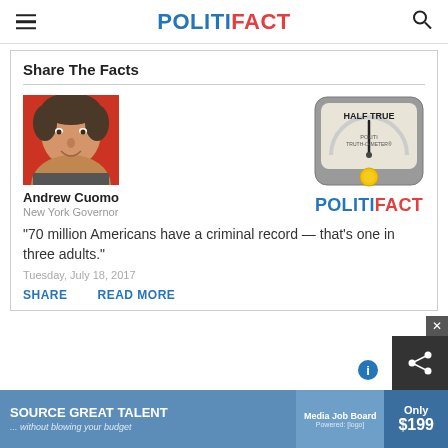POLITIFACT
Share The Facts
[Figure (photo): Photo of Andrew Cuomo on red background]
Andrew Cuomo
New York Governor
[Figure (infographic): PolitiFact Truth-O-Meter showing HALF TRUE rating with gauge and yellow button]
[Figure (logo): PolitiFact logo]
"70 million Americans have a criminal record — that's one in three adults."
Tuesday, July 18, 2017
SHARE   READ MORE